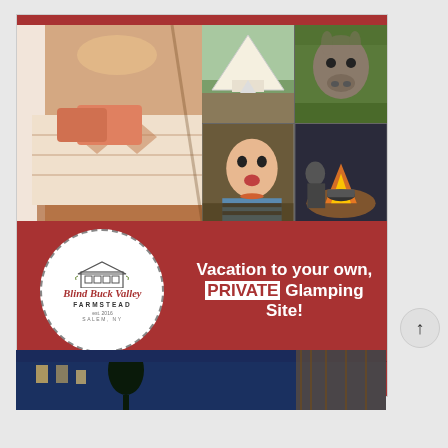[Figure (infographic): Advertisement for Blind Buck Valley Farmstead glamping site. Top section shows a collage of 5 photos: large left photo of a cozy tent interior with patterned bedding; top-right shows two photos side by side of a bell tent exterior and a donkey in a field; bottom-right shows a child eating by a campfire and a person tending a fire. Below the photos is a red banner with a circular logo for 'Blind Buck Valley Farmstead, Est 2016, Salem NY' on the left, and text reading 'Vacation to your own, PRIVATE Glamping Site!' on the right. A red button reads 'LEARN MORE >'.]
[Figure (photo): Partial view of a second advertisement showing a dark blue building exterior at night.]